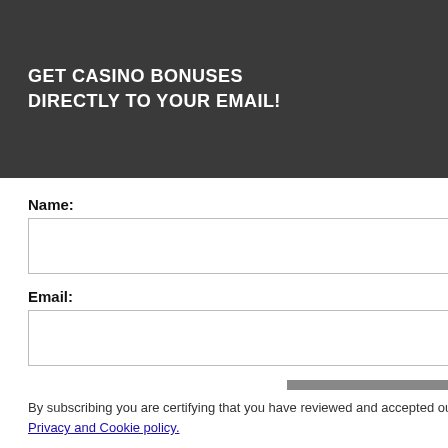BSPIN GIVES 20 FREE SPINS NO DEPOSIT
BSPIN give 20 free spins no deposit on sign up + daily freebies every day to all players. It is a place you get extra having an account at Bspin. no deposit + start collect free day. et 20 free spins + 100%
[Figure (screenshot): Email subscription modal popup with dark header 'GET CASINO BONUSES DIRECTLY TO YOUR EMAIL!', Name and Email input fields, Submit button, close (x) button, and footer text about Privacy and Cookie policy]
perience, we use. Using this site, kie & privacy policy.
50mß. 50mß.
By subscribing you are certifying that you have reviewed and accepted our updated Privacy and Cookie policy.